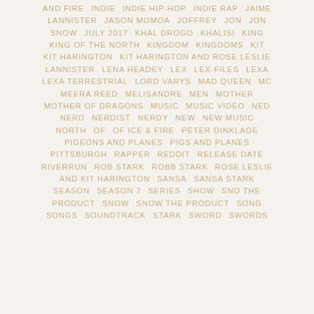AND FIRE   INDIE   INDIE HIP-HOP   INDIE RAP   JAIME LANNISTER   JASON MOMOA   JOFFREY   JON   JON SNOW   JULY 2017   KHAL DROGO   KHALISI   KING   KING OF THE NORTH   KINGDOM   KINGDOMS   KIT   KIT HARINGTON   KIT HARINGTON AND ROSE LESLIE   LANNISTER   LENA HEADEY   LEX   LEX-FILES   LEXA   LEXA TERRESTRIAL   LORD VARYS   MAD QUEEN   MC   MEERA REED   MELISANDRE   MEN   MOTHER   MOTHER OF DRAGONS   MUSIC   MUSIC VIDEO   NED   NERD   NERDIST   NERDY   NEW   NEW MUSIC   NORTH   OF   OF ICE & FIRE   PETER DINKLAGE   PIGEONS AND PLANES   PIGS AND PLANES   PITTSBURGH   RAPPER   REDDIT   RELEASE DATE   RIVERRUN   ROB STARK   ROBB STARK   ROSE LESLIE AND KIT HARINGTON   SANSA   SANSA STARK   SEASON   SEASON 7   SERIES   SHOW   SNO THE PRODUCT   SNOW   SNOW THE PRODUCT   SONG   SONGS   SOUNDTRACK   STARK   SWORD   SWORDS